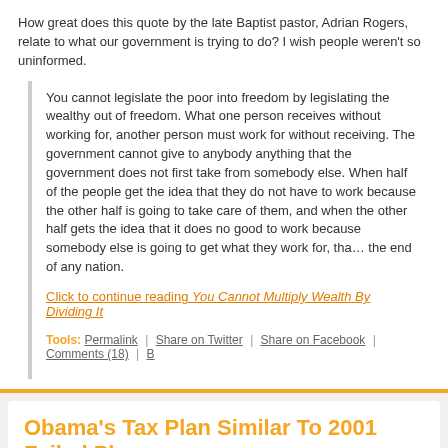How great does this quote by the late Baptist pastor, Adrian Rogers, relate to what our government is trying to do? I wish people weren't so uninformed.
You cannot legislate the poor into freedom by legislating the wealthy out of freedom. What one person receives without working for, another person must work for without receiving. The government cannot give to anybody anything that the government does not first take from somebody else. When half of the people get the idea that they do not have to work because the other half is going to take care of them, and when the other half gets the idea that it does no good to work because somebody else is going to get what they work for, that is the end of any nation.
Click to continue reading You Cannot Multiply Wealth By Dividing It
Tools: Permalink | Share on Twitter | Share on Facebook | Comments (18) |
Obama's Tax Plan Similar To 2001 Failed Plan
Posted by Sal Traina
Categories: Editorials, History, US Economy,